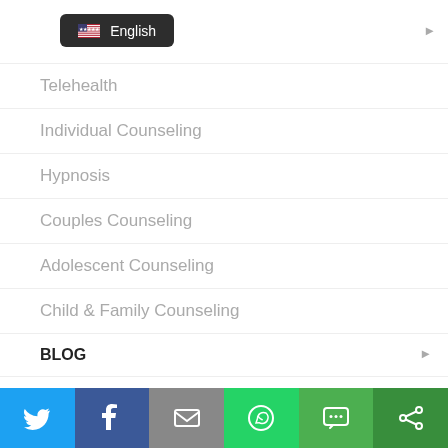[Figure (screenshot): English language selector button with US flag icon on dark background]
Telehealth
Individual Counseling
Hypnosis
Couples Counseling
Adolescent Counseling
Child & Family Counseling
BLOG
COMMUNITY PRESENTATIONS
[Figure (infographic): Social sharing bar with Twitter, Facebook, Email, WhatsApp, SMS, and share icons]